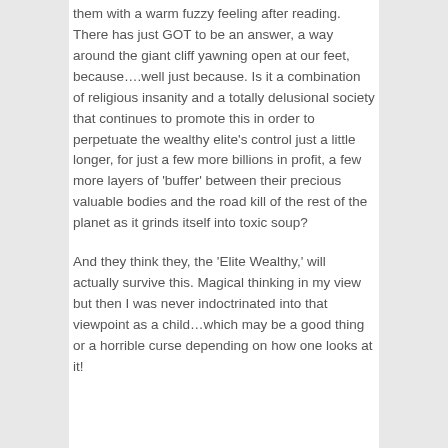them with a warm fuzzy feeling after reading. There has just GOT to be an answer, a way around the giant cliff yawning open at our feet, because….well just because. Is it a combination of religious insanity and a totally delusional society that continues to promote this in order to perpetuate the wealthy elite's control just a little longer, for just a few more billions in profit, a few more layers of 'buffer' between their precious valuable bodies and the road kill of the rest of the planet as it grinds itself into toxic soup?
And they think they, the 'Elite Wealthy,' will actually survive this. Magical thinking in my view but then I was never indoctrinated into that viewpoint as a child…which may be a good thing or a horrible curse depending on how one looks at it!